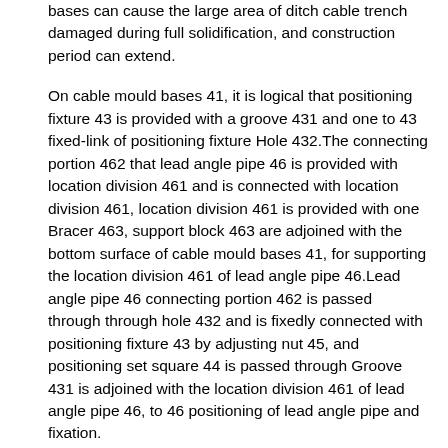bases can cause the large area of ditch cable trench damaged during full solidification, and construction period can extend.
On cable mould bases 41, it is logical that positioning fixture 43 is provided with a groove 431 and one to 43 fixed-link of positioning fixture Hole 432.The connecting portion 462 that lead angle pipe 46 is provided with location division 461 and is connected with location division 461, location division 461 is provided with one Bracer 463, support block 463 are adjoined with the bottom surface of cable mould bases 41, for supporting the location division 461 of lead angle pipe 46.Lead angle pipe 46 connecting portion 462 is passed through through hole 432 and is fixedly connected with positioning fixture 43 by adjusting nut 45, and positioning set square 44 is passed through Groove 431 is adjoined with the location division 461 of lead angle pipe 46, to 46 positioning of lead angle pipe and fixation.
When cable mould bases 41 needs to carry out the demoulding, the fixation to lead angle pipe 46 is unclamped by adjusting nut 45, while will Positioning set square 44 is removed, by mobile lead angle pipe 46 so that the edge of